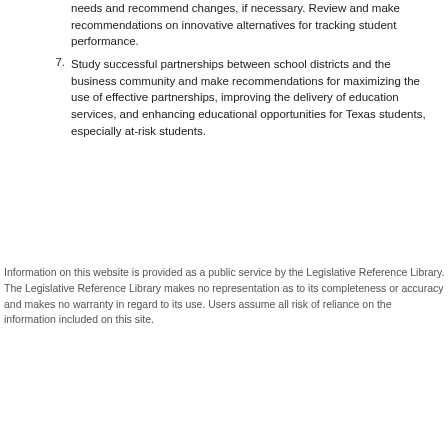needs and recommend changes, if necessary. Review and make recommendations on innovative alternatives for tracking student performance.
7. Study successful partnerships between school districts and the business community and make recommendations for maximizing the use of effective partnerships, improving the delivery of education services, and enhancing educational opportunities for Texas students, especially at-risk students.
Information on this website is provided as a public service by the Legislative Reference Library. The Legislative Reference Library makes no representation as to its completeness or accuracy and makes no warranty in regard to its use. Users assume all risk of reliance on the information included on this site.